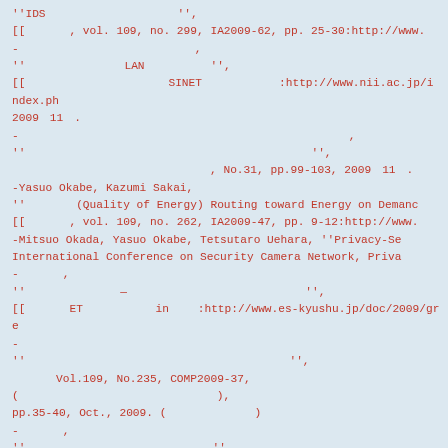''IDS　　　　　　　　　　　　　　　　　　　　　　'',
[[　　　　, vol. 109, no. 299, IA2009-62, pp. 25-30:http://www.
-　　　　　　　　　　　　　　　　　,
''　　　　　　　　　LAN　　　　　　'',
[[　　　　　　　　　　　　　SINET　　　　　　　:http://www.nii.ac.jp/index.ph
2009　11　.
-　　　　　　　　　　　　　　　　　　　　　　　　　　　　　　　　,
''　　　　　　　　　　　　　　　　　　　　　　　　　　　'',
　　　　　　　　　　　　　　　　　　, No.31, pp.99-103, 2009　11　.
-Yasuo Okabe, Kazumi Sakai,
''　　　　 (Quality of Energy) Routing toward Energy on Demanc
[[　　　　, vol. 109, no. 262, IA2009-47, pp. 9-12:http://www.
-Mitsuo Okada, Yasuo Okabe, Tetsutaro Uehara, ''Privacy-Se
International Conference on Security Camera Network, Priva
-　　　　,
''　　　　　　　　 — 　　　　　　　　　　　　　　　　　 '',
[[　　　　ET　　　　　　 in 　　:http://www.es-kyushu.jp/doc/2009/gre
-　　　　　　　　　　　　　　
''　　　　　　　　　　　　　　　　　　　　　　　　'',
　　　　Vol.109, No.235, COMP2009-37,
(　　　　　　　　　　　　　　　　　　),
pp.35-40, Oct., 2009. (　　　　　　　　)
-　　　　,
''　　　　　　　　　　　　　　　　　'',
　　　　Vol.109, No.211, AI2009-12
(　　　　　　　　　　　　　　　　　　),
pp.19-22, 2009　9　. (　　　　　　　　)
-Yasuo Okabe,
''　　　　 (Quality of Energy) Routing toward Energy on Demanc